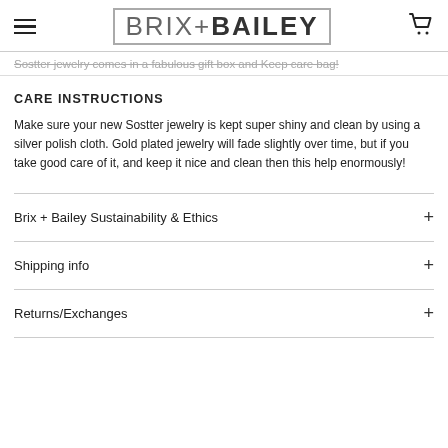BRIX+BAILEY
Sostter jewelry comes in a fabulous gift box and Keep care bag!
CARE INSTRUCTIONS
Make sure your new Sostter jewelry is kept super shiny and clean by using a silver polish cloth. Gold plated jewelry will fade slightly over time, but if you take good care of it, and keep it nice and clean then this help enormously!
Brix + Bailey Sustainability & Ethics
Shipping info
Returns/Exchanges